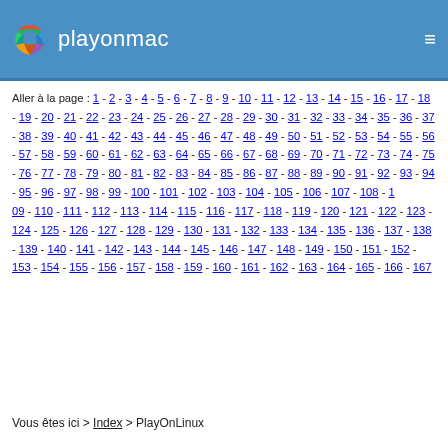playonmac
Aller à la page : 1 - 2 - 3 - 4 - 5 - 6 - 7 - 8 - 9 - 10 - 11 - 12 - 13 - 14 - 15 - 16 - 17 - 18 - 19 - 20 - 21 - 22 - 23 - 24 - 25 - 26 - 27 - 28 - 29 - 30 - 31 - 32 - 33 - 34 - 35 - 36 - 37 - 38 - 39 - 40 - 41 - 42 - 43 - 44 - 45 - 46 - 47 - 48 - 49 - 50 - 51 - 52 - 53 - 54 - 55 - 56 - 57 - 58 - 59 - 60 - 61 - 62 - 63 - 64 - 65 - 66 - 67 - 68 - 69 - 70 - 71 - 72 - 73 - 74 - 75 - 76 - 77 - 78 - 79 - 80 - 81 - 82 - 83 - 84 - 85 - 86 - 87 - 88 - 89 - 90 - 91 - 92 - 93 - 94 - 95 - 96 - 97 - 98 - 99 - 100 - 101 - 102 - 103 - 104 - 105 - 106 - 107 - 108 - 109 - 110 - 111 - 112 - 113 - 114 - 115 - 116 - 117 - 118 - 119 - 120 - 121 - 122 - 123 - 124 - 125 - 126 - 127 - 128 - 129 - 130 - 131 - 132 - 133 - 134 - 135 - 136 - 137 - 138 - 139 - 140 - 141 - 142 - 143 - 144 - 145 - 146 - 147 - 148 - 149 - 150 - 151 - 152 - 153 - 154 - 155 - 156 - 157 - 158 - 159 - 160 - 161 - 162 - 163 - 164 - 165 - 166 - 167
Vous êtes ici > Index > PlayOnLinux